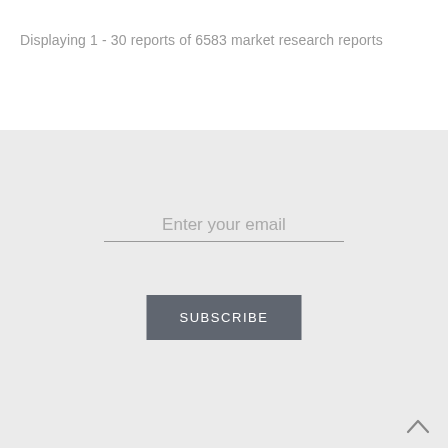Displaying 1 - 30 reports of 6583 market research reports
Enter your email
SUBSCRIBE